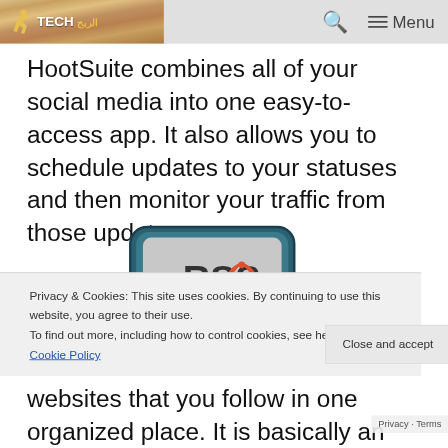Tech [logo] — Search — Menu
HootSuite combines all of your social media into one easy-to-access app. It also allows you to schedule updates to your statuses and then monitor your traffic from those updates.
[Figure (illustration): RSS reader app icon — a rounded rectangle with teal/dark blue border containing RSS text and wifi signal icon]
Privacy & Cookies: This site uses cookies. By continuing to use this website, you agree to their use. To find out more, including how to control cookies, see here: Cookie Policy
websites that you follow in one organized place. It is basically an RSS feed for your